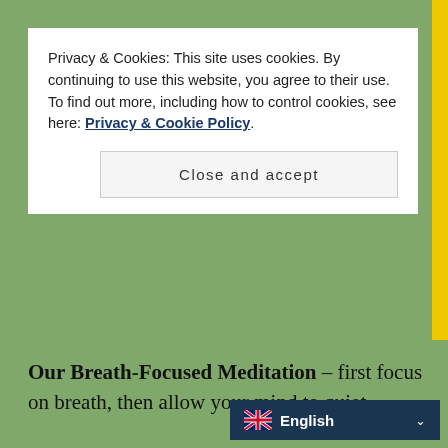Privacy & Cookies: This site uses cookies. By continuing to use this website, you agree to their use.
To find out more, including how to control cookies, see here: Privacy & Cookie Policy.
Close and accept
Our Breath-Focused Meditation – first focus on breath, then allow your mind to quiet.
[Figure (illustration): Circular meditation logo: a person in lotus position silhouetted in dark red, surrounded by a brushstroke enso circle, on a taupe circular background]
English